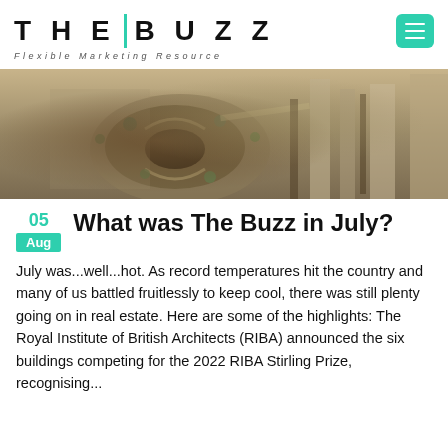THE BUZZ — Flexible Marketing Resource
[Figure (photo): Aerial view of a circular outdoor plaza or rooftop garden surrounded by architectural structures, with trees and seating areas visible from above.]
What was The Buzz in July?
July was...well...hot. As record temperatures hit the country and many of us battled fruitlessly to keep cool, there was still plenty going on in real estate. Here are some of the highlights: The Royal Institute of British Architects (RIBA) announced the six buildings competing for the 2022 RIBA Stirling Prize, recognising...